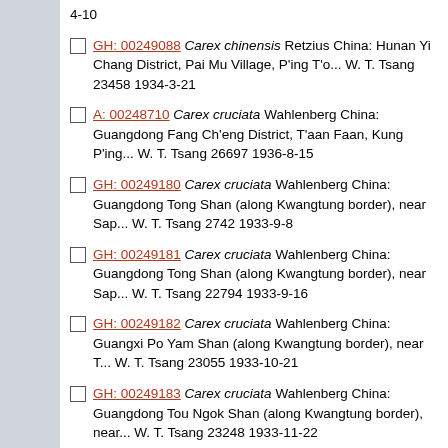4-10
GH: 00249088 Carex chinensis Retzius China: Hunan Yi Chang District, Pai Mu Village, P'ing T'o... W. T. Tsang 23458 1934-3-21
A: 00248710 Carex cruciata Wahlenberg China: Guangdong Fang Ch'eng District, T'aan Faan, Kung P'ing... W. T. Tsang 26697 1936-8-15
GH: 00249180 Carex cruciata Wahlenberg China: Guangdong Tong Shan (along Kwangtung border), near Sap... W. T. Tsang 2742 1933-9-8
GH: 00249181 Carex cruciata Wahlenberg China: Guangdong Tong Shan (along Kwangtung border), near Sap... W. T. Tsang 22794 1933-9-16
GH: 00249182 Carex cruciata Wahlenberg China: Guangxi Po Yam Shan (along Kwangtung border), near T... W. T. Tsang 23055 1933-10-21
GH: 00249183 Carex cruciata Wahlenberg China: Guangdong Tou Ngok Shan (along Kwangtung border), near... W. T. Tsang 23248 1933-11-22